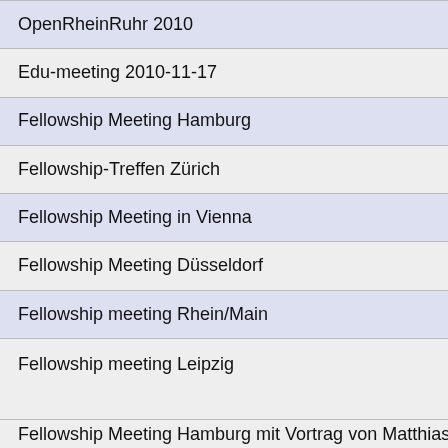OpenRheinRuhr 2010
Edu-meeting 2010-11-17
Fellowship Meeting Hamburg
Fellowship-Treffen Zürich
Fellowship Meeting in Vienna
Fellowship Meeting Düsseldorf
Fellowship meeting Rhein/Main
Fellowship meeting Leipzig
Fellowship Meeting Hamburg mit Vortrag von Matthias Kirch...